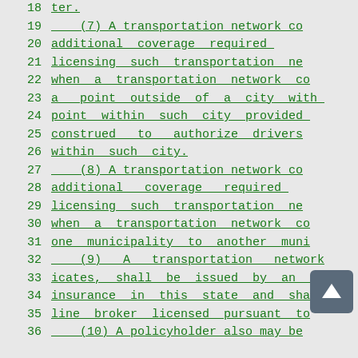18   ter.
19       (7) A transportation network co
20   additional  coverage  required
21   licensing  such  transportation ne
22   when  a  transportation  network co
23   a   point  outside  of  a  city  with
24   point  within  such  city  provided
25   construed   to   authorize  drivers
26   within  such  city.
27       (8) A transportation network co
28   additional  coverage  required
29   licensing  such  transportation ne
30   when  a  transportation  network co
31   one  municipality  to  another  muni
32       (9)  A  transportation  network
33   icates,  shall  be  issued  by  an in
34   insurance  in  this  state  and  shal
35   line  broker  licensed  pursuant  to
36       (10) A policyholder also may be